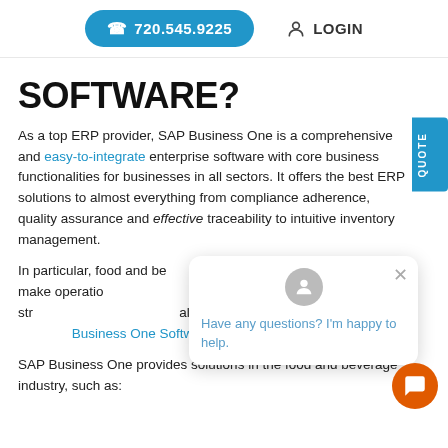720.545.9225   LOGIN
SOFTWARE?
As a top ERP provider, SAP Business One is a comprehensive and easy-to-integrate enterprise software with core business functionalities for businesses in all sectors. It offers the best ERP solutions to almost everything from compliance adherence, quality assurance and effective traceability to intuitive inventory management.
In particular, food and beverage companies need a system to make operations manageable and combat the challenges of this stringent industry covering all facets of the food manufacturing industry. Business One Software fits the description.
SAP Business One provides solutions in the food and beverage industry, such as: